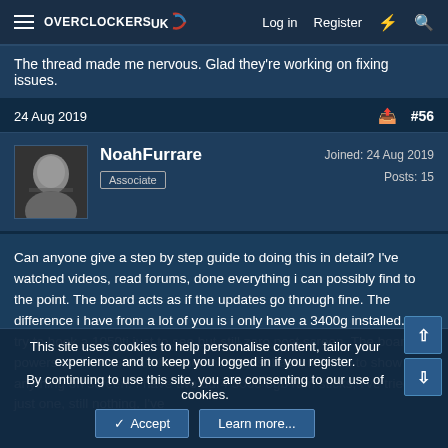Overclockers UK — Log in | Register
The thread made me nervous. Glad they're working on fixing issues.
24 Aug 2019  #56
NoahFurrare
Associate
Joined: 24 Aug 2019
Posts: 15
Can anyone give a step by step guide to doing this in detail? I've watched videos, read forums, done everything i can possibly find to the point. The board acts as if the updates go through fine. The difference i have from a lot of you is i only have a 3400g installed. I did try to hook a 1050ti just to see but still zero post screen. The board powers on led's and all that, seems to flashback, refuses to show anything on screen. I have two ddr4 3000 8gb ram sticks, I've tried just one, still nothing. I've
This site uses cookies to help personalise content, tailor your experience and to keep you logged in if you register.
By continuing to use this site, you are consenting to our use of cookies.